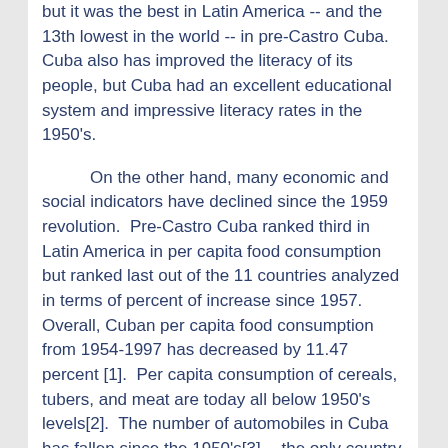but it was the best in Latin America -- and the 13th lowest in the world -- in pre-Castro Cuba. Cuba also has improved the literacy of its people, but Cuba had an excellent educational system and impressive literacy rates in the 1950's.
On the other hand, many economic and social indicators have declined since the 1959 revolution. Pre-Castro Cuba ranked third in Latin America in per capita food consumption but ranked last out of the 11 countries analyzed in terms of percent of increase since 1957. Overall, Cuban per capita food consumption from 1954-1997 has decreased by 11.47 percent [1]. Per capita consumption of cereals, tubers, and meat are today all below 1950's levels[2]. The number of automobiles in Cuba has fallen since the 1950's[3] -- the only country in Latin America